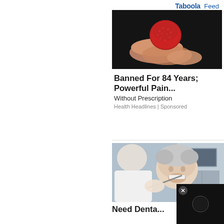Taboola Feed
[Figure (photo): A hand holding a round red gummy candy against a dark background]
Banned For 84 Years; Powerful Pain...
Without Prescription
Health Headlines | Sponsored
[Figure (photo): An elderly woman smiling at the dentist, with a dental video overlay in the bottom-right corner]
Need Denta...